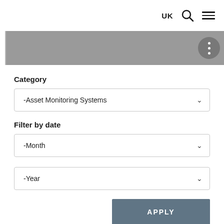UK
[Figure (screenshot): Gray navigation band with three-dots circular button on the right]
Category
-Asset Monitoring Systems
Filter by date
-Month
-Year
APPLY